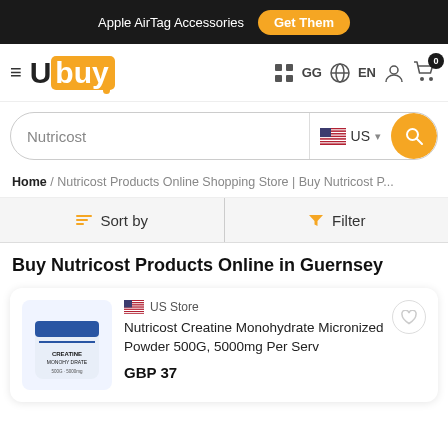Apple AirTag Accessories  Get Them
[Figure (logo): Ubuy logo with orange square background on 'buy' portion]
Nutricost  US  Search
Home / Nutricost Products Online Shopping Store | Buy Nutricost P...
Sort by  Filter
Buy Nutricost Products Online in Guernsey
US Store
Nutricost Creatine Monohydrate Micronized Powder 500G, 5000mg Per Serv
GBP 37